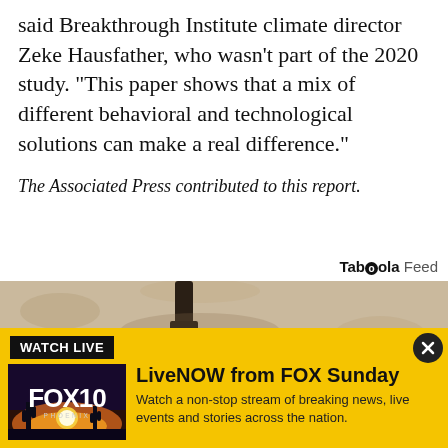said Breakthrough Institute climate director Zeke Hausfather, who wasn't part of the 2020 study. "This paper shows that a mix of different behavioral and technological solutions can make a real difference."
The Associated Press contributed to this report.
[Figure (logo): Taboola Feed logo with text 'Taboola Feed']
[Figure (photo): Close-up photograph of a wall-mounted outdoor light fixture with a bulb, mounted on a rough stucco wall]
[Figure (infographic): Watch Live banner in yellow with FOX 10 Phoenix logo and LiveNOW from FOX Sunday advertisement]